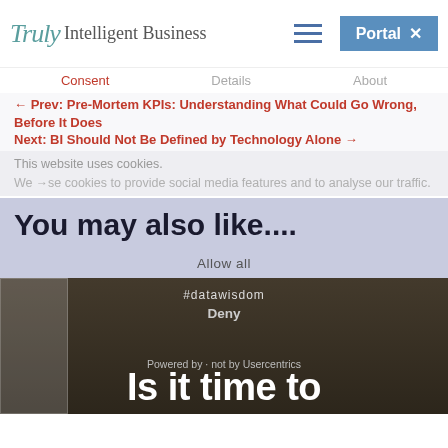Truly Intelligent Business
Consent  Details  About
← Prev: Pre-Mortem KPIs: Understanding What Could Go Wrong, Before It Does
Next: BI Should Not Be Defined by Technology Alone →
This website uses cookies
We use cookies to provide social media features and to analyse our traffic.
You may also like....
Allow all
#datawisdom
Deny
Powered by · not by Usercentrics
Is it time to